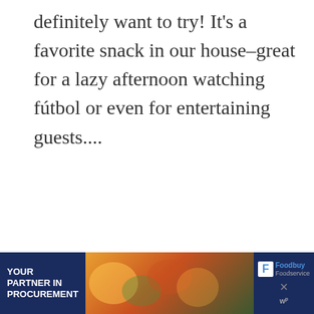definitely want to try! It's a favorite snack in our house–great for a lazy afternoon watching fútbol or even for entertaining guests....
READ MORE
Comer Sano/Eat Healthy
Recipe
Snacks
Vegetarian/Vegetariano
antojitos
cebolla roja
chile serrano
cucumber
jicama
limo
limón
[Figure (infographic): Advertisement banner for Foodbuy Foodservice with text YOUR PARTNER IN PROCUREMENT on dark blue background with food imagery]